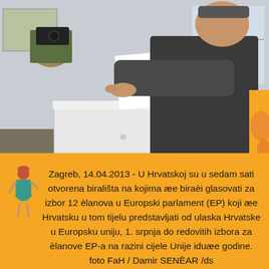[Figure (photo): A man inserting a ballot paper into a white ballot box at a polling station. A person with a camera is visible in the background.]
Zagreb, 14.04.2013 - U Hrvatskoj su u sedam sati otvorena birališta na kojima će birači glasovati za izbor 12 članova u Europski parlament (EP) koji će Hrvatsku u tom tijelu predstavljati od ulaska Hrvatske u Europsku uniju, 1. srpnja do redovitih izbora za članove EP-a na razini cijele Unije iduće godine. foto FaH / Damir SENČAR /ds